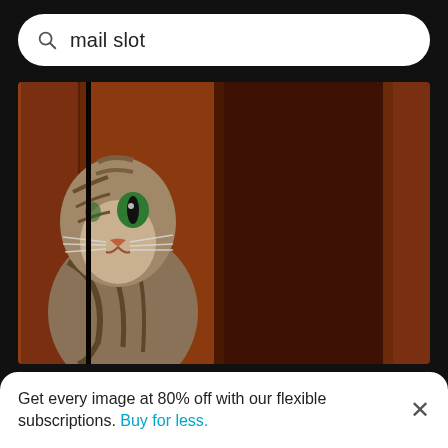mail slot
[Figure (photo): Cat peeking through a narrow gap between two wooden door panels, with one green eye visible. Dark background.]
Portrait of cat seen through door
[Figure (photo): Partially visible bottom images showing dark scenes, one with what appears to be a metallic mail slot.]
Get every image at 80% off with our flexible subscriptions. Buy for less.